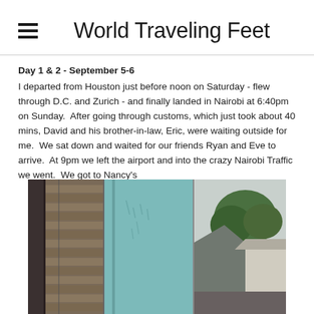World Traveling Feet
Day 1 & 2 - September 5-6
I departed from Houston just before noon on Saturday - flew through D.C. and Zurich - and finally landed in Nairobi at 6:40pm on Sunday.  After going through customs, which just took about 40 mins, David and his brother-in-law, Eric, were waiting outside for me.  We sat down and waited for our friends Ryan and Eve to arrive.  At 9pm we left the airport and into the crazy Nairobi Traffic we went.  We got to Nancy's
[Figure (photo): Photograph showing buildings in Nairobi - three panels: left shows wooden slatted building exterior, middle shows a blue/teal painted wall, right shows rooftops and trees against a cloudy sky]